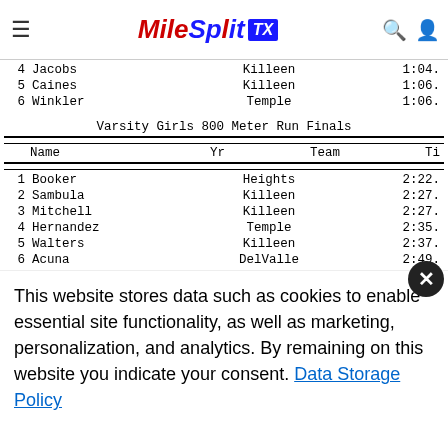MileSplit TX
|  | Name | Yr | Team | Ti |
| --- | --- | --- | --- | --- |
| 4 | Jacobs |  | Killeen | 1:04. |
| 5 | Caines |  | Killeen | 1:06. |
| 6 | Winkler |  | Temple | 1:06. |
Varsity Girls 800 Meter Run Finals
|  | Name | Yr | Team | Ti |
| --- | --- | --- | --- | --- |
| 1 | Booker |  | Heights | 2:22. |
| 2 | Sambula |  | Killeen | 2:27. |
| 3 | Mitchell |  | Killeen | 2:27. |
| 4 | Hernandez |  | Temple | 2:35. |
| 5 | Walters |  | Killeen | 2:37. |
| 6 | Acuna |  | DelValle | 2:49. |
Varsity Girls 4x100 Meter Relay Finals
This website stores data such as cookies to enable essential site functionality, as well as marketing, personalization, and analytics. By remaining on this website you indicate your consent. Data Storage Policy